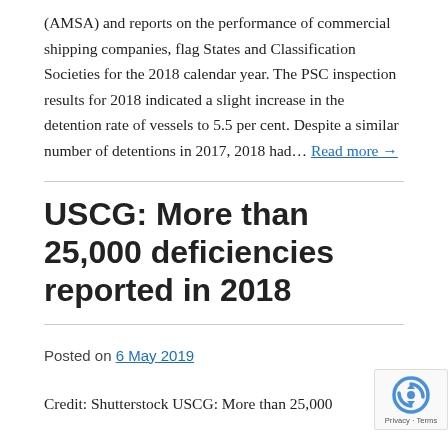(AMSA) and reports on the performance of commercial shipping companies, flag States and Classification Societies for the 2018 calendar year. The PSC inspection results for 2018 indicated a slight increase in the detention rate of vessels to 5.5 per cent. Despite a similar number of detentions in 2017, 2018 had… Read more →
USCG: More than 25,000 deficiencies reported in 2018
Posted on 6 May 2019
Credit: Shutterstock USCG: More than 25,000